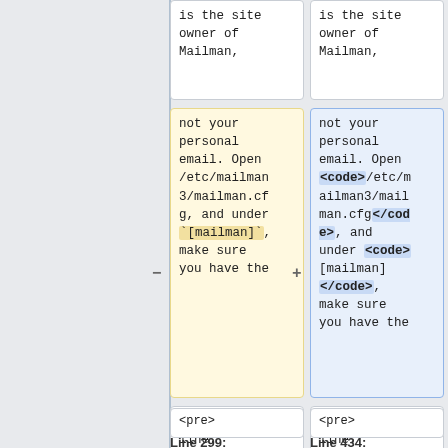is the site owner of Mailman,
is the site owner of Mailman,
not your personal email. Open /etc/mailman3/mailman.cfg, and under `[mailman]`, make sure you have the
not your personal email. Open <code>/etc/mailman3/mailman.cfg</code>, and under <code>[mailman]</code>, make sure you have the
following line:
following line:
<pre>
<pre>
Line 299:
Line 434: